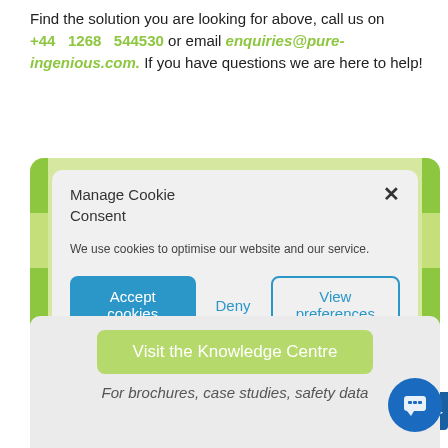Find the solution you are looking for above, call us on +44 1268 544530 or email enquiries@pure-ingenious.com. If you have questions we are here to help!
[Figure (screenshot): Cookie consent modal dialog with title 'Manage Cookie Consent', body text 'We use cookies to optimise our website and our service.', and three buttons: 'Accept cookies' (blue filled), 'Deny' (text), and 'View preferences' (outlined). Close X button in top right. Green decorative bars on left and right edges.]
[Figure (screenshot): Bottom section with light gray background showing a green 'Visit the Knowledge Centre' button and italic text 'For brochures, case studies, safety data'. Blue chat bubble icon in bottom right corner.]